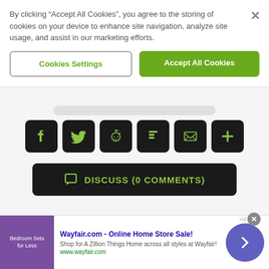By clicking “Accept All Cookies”, you agree to the storing of cookies on your device to enhance site navigation, analyze site usage, and assist in our marketing efforts.
Cookies Settings
Accept All Cookies
[Figure (screenshot): Row of six social sharing icon buttons (Facebook, Twitter, Reddit, Flipboard, Email, More) with dark rounded square backgrounds and green icons]
[Figure (screenshot): Dark rounded rectangle button with green chat icon and text DISCUSS (0 COMMENTS)]
ABOUT THE AUTHOR
[Figure (screenshot): Advertisement banner: Wayfair.com - Online Home Store Sale! Shop for A Zillion Things Home across all styles at Wayfair! www.wayfair.com]